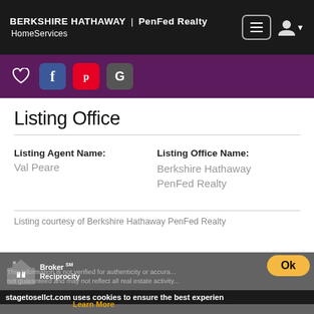BERKSHIRE HATHAWAY | PenFed Realty HomeServices
[Figure (screenshot): Purple social sharing bar with heart icon, Facebook, Pinterest, and Google buttons]
Listing Office
Listing Agent Name: Val Peare
Listing Office Name: Berkshire Hathaway PenFed Realty
Listing courtesy of Berkshire Hathaway PenFed Realty
Broker Reciprocity. This information is not verified for authenticity or accuracy, not guaranteed and may not reflect all real estate activity... stagetosellct.com uses cookies to ensure the best experience. Learn More. Ok.